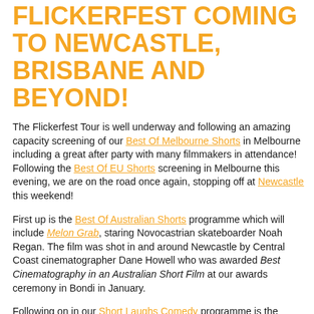FLICKERFEST COMING TO NEWCASTLE, BRISBANE AND BEYOND!
The Flickerfest Tour is well underway and following an amazing capacity screening of our Best Of Melbourne Shorts in Melbourne including a great after party with many filmmakers in attendance!  Following the Best Of EU Shorts screening in Melbourne this evening, we are on the road once again, stopping off at Newcastle this weekend!
First up is the Best Of Australian Shorts programme which will include Melon Grab, staring Novocastrian skateboarder Noah Regan.  The film was shot in and around Newcastle by Central Coast cinematographer Dane Howell who was awarded Best Cinematography in an Australian Short Film at our awards ceremony in Bondi in January.
Following on in our Short Laughs Comedy programme is the winner of our Academy® Accredited Best Australian Short Film On Hold.  This delightful musical was Directed and